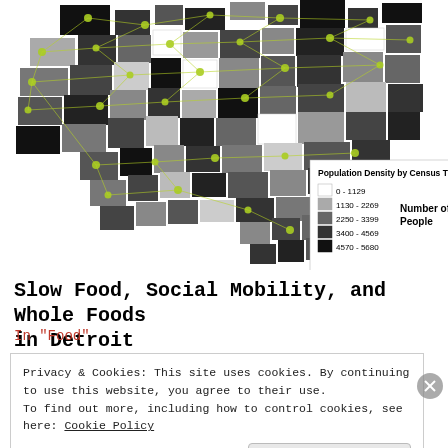[Figure (map): Choropleth map of Detroit showing Population Density by Census Tract. Census tracts shaded from white (0-1129 people) to black (4570-5680 people) in grayscale. Green/yellow dots overlaid representing locations (likely food stores). Legend shows 5 density ranges with corresponding grayscale swatches and label 'Number of People'.]
Slow Food, Social Mobility, and Whole Foods in Detroit
In "Food"
Privacy & Cookies: This site uses cookies. By continuing to use this website, you agree to their use.
To find out more, including how to control cookies, see here: Cookie Policy
Close and accept